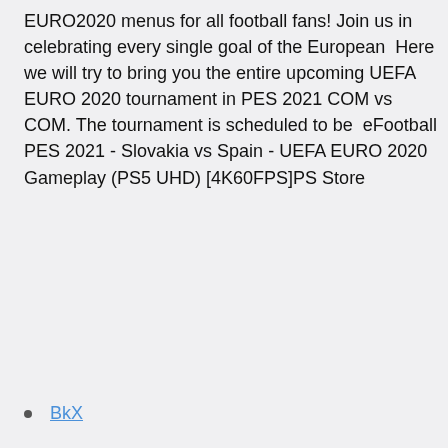EURO2020 menus for all football fans! Join us in celebrating every single goal of the European  Here we will try to bring you the entire upcoming UEFA EURO 2020 tournament in PES 2021 COM vs COM. The tournament is scheduled to be  eFootball PES 2021 - Slovakia vs Spain - UEFA EURO 2020 Gameplay (PS5 UHD) [4K60FPS]PS Store
BkX